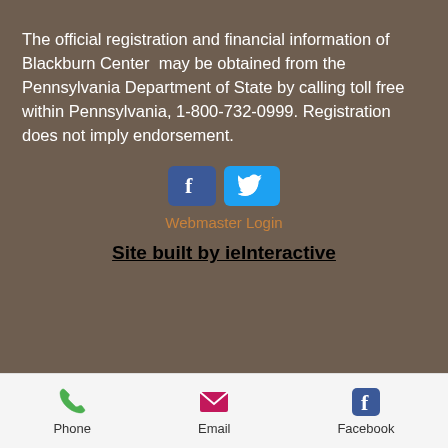The official registration and financial information of Blackburn Center  may be obtained from the Pennsylvania Department of State by calling toll free within Pennsylvania, 1-800-732-0999. Registration does not imply endorsement.
[Figure (other): Two social media icon buttons: Facebook (blue) and Twitter (light blue)]
Webmaster Login
Site built by ieInteractive
[Figure (other): Mobile bottom navigation bar with Phone (green phone icon), Email (pink envelope icon), and Facebook (blue Facebook icon) buttons]